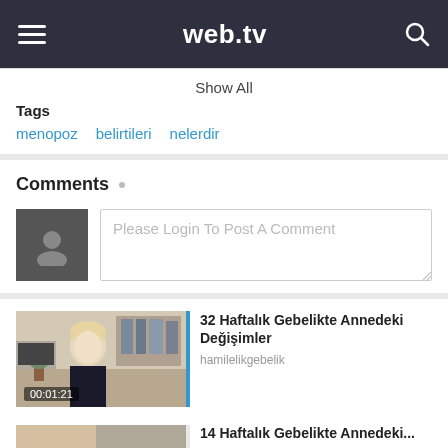[Figure (screenshot): web.tv mobile website header with hamburger menu, logo, and search icon on dark background]
Show All
Tags
menopoz
belirtileri
nelerdir
Comments
Please Login To Post A Comment
32 Haftalık Gebelikte Annedeki Değişimler
hamilelikgebelik
00:01:21